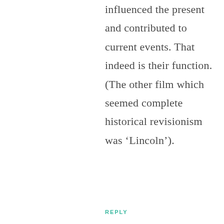influenced the present and contributed to current events. That indeed is their function. (The other film which seemed complete historical revisionism was ‘Lincoln’).
REPLY